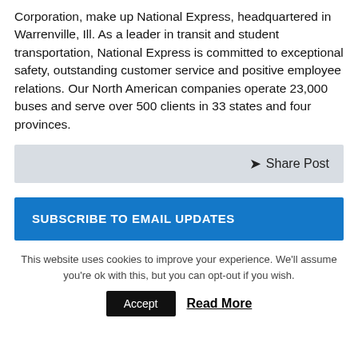Corporation, make up National Express, headquartered in Warrenville, Ill. As a leader in transit and student transportation, National Express is committed to exceptional safety, outstanding customer service and positive employee relations. Our North American companies operate 23,000 buses and serve over 500 clients in 33 states and four provinces.
Share Post
SUBSCRIBE TO EMAIL UPDATES
This website uses cookies to improve your experience. We'll assume you're ok with this, but you can opt-out if you wish.
Accept
Read More